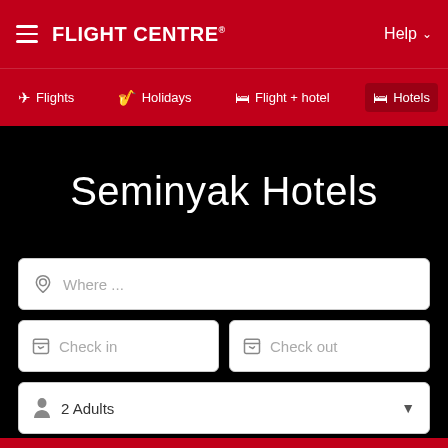FLIGHT CENTRE
Flights
Holidays
Flight + hotel
Hotels
Seminyak Hotels
Where ...
Check in
Check out
2 Adults
FIND HOTELS